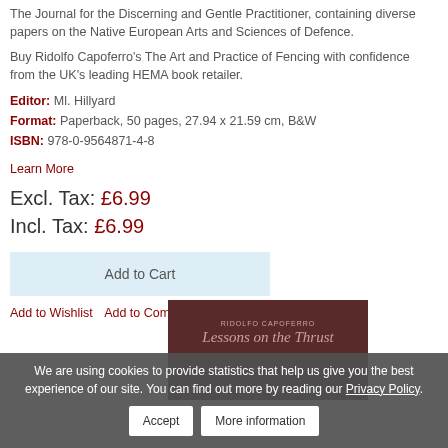The Journal for the Discerning and Gentle Practitioner, containing diverse papers on the Native European Arts and Sciences of Defence.
Buy Ridolfo Capoferro’s The Art and Practice of Fencing with confidence from the UK’s leading HEMA book retailer.
Editor: Ml. Hillyard
Format: Paperback, 50 pages, 27.94 x 21.59 cm, B&W
ISBN: 978-0-9564871-4-8
Learn More
Excl. Tax: £6.99
Incl. Tax: £6.99
Add to Cart
Add to Wishlist  Add to Compare
We are using cookies to provide statistics that help us give you the best experience of our site. You can find out more by reading our Privacy Policy.
Accept
More information
[Figure (illustration): Partial book cover showing title 'Lessons on the Thrust' with dark red/brown background]